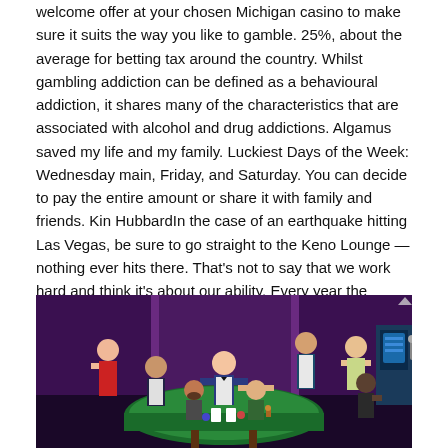welcome offer at your chosen Michigan casino to make sure it suits the way you like to gamble. 25%, about the average for betting tax around the country. Whilst gambling addiction can be defined as a behavioural addiction, it shares many of the characteristics that are associated with alcohol and drug addictions. Algamus saved my life and my family. Luckiest Days of the Week: Wednesday main, Friday, and Saturday. You can decide to pay the entire amount or share it with family and friends. Kin HubbardIn the case of an earthquake hitting Las Vegas, be sure to go straight to the Keno Lounge — nothing ever hits there. That's not to say that we work hard and think it's about our ability. Every year the college orNCCA basketball champion is determined by a 64 team tournament run in March. You have to pay gambling tax on the proceeds from games made available in Sweden, e. Vilket upplevdes raspig för många.
[Figure (illustration): Illustration of a casino interior scene with multiple cartoon-style characters around a green felt card table. A dealer in a blue vest stands at center, players sit and stand around the table. A woman in a red dress is on the left, a man at a slot machine on the right. The background features purple and dark tones with glowing lights typical of a casino environment.]